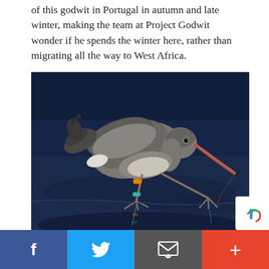of this godwit in Portugal in autumn and late winter, making the team at Project Godwit wonder if he spends the winter here, rather than migrating all the way to West Africa.
[Figure (photo): A godwit wading bird photographed in shallow water, leaning forward with its long beak dipping toward the water surface. The bird has grey-brown plumage and is wearing a bright orange ring on its upper left leg and a teal/blue ring on its lower left leg.]
Godwit known by his rings 'BB-OL(E)' in the Algarve, Portugal on 24 October (Photo: Ray Tipper).
Facebook | Twitter | Email | +